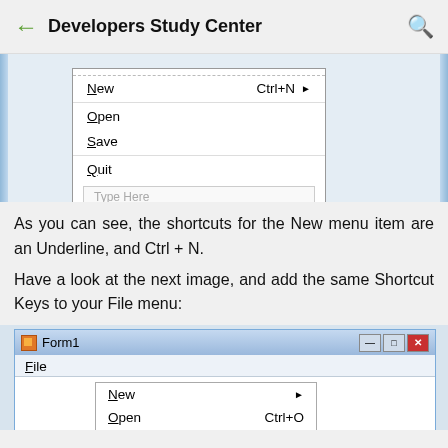Developers Study Center
[Figure (screenshot): Windows form designer showing a menu with items: New (Ctrl+N with arrow), Open, Save, Quit, and a Type Here input box]
As you can see, the shortcuts for the New menu item are an Underline, and Ctrl + N.
Have a look at the next image, and add the same Shortcut Keys to your File menu:
[Figure (screenshot): Windows Form1 designer showing File menu open with items: New (with arrow), Open (Ctrl+O), Save (Ctrl+S)]